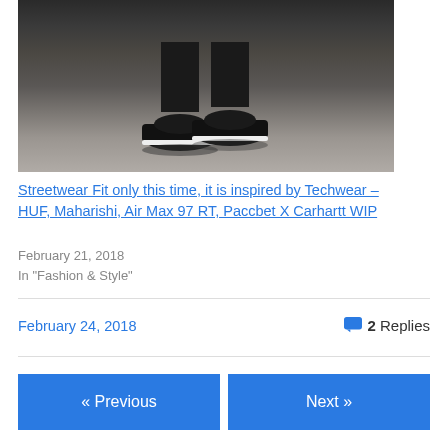[Figure (photo): Close-up photo of a person's legs wearing dark pants and black Nike Air Max 97 sneakers, standing on wet pavement/concrete tiles.]
Streetwear Fit only this time, it is inspired by Techwear – HUF, Maharishi, Air Max 97 RT, Paccbet X Carhartt WIP
February 21, 2018
In "Fashion & Style"
February 24, 2018
2 Replies
« Previous
Next »